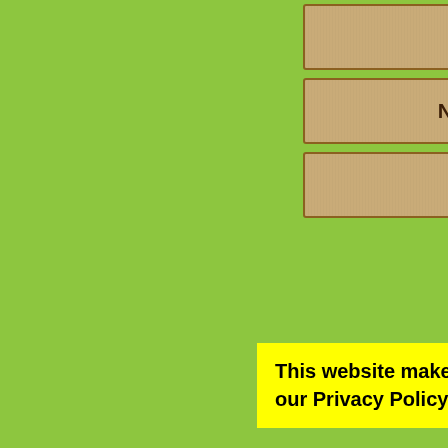[Figure (screenshot): Navigation button styled as textured tan/burlap rectangle with text 'The Blog']
[Figure (screenshot): Navigation button styled as textured tan/burlap rectangle with text 'News & Events']
[Figure (screenshot): Navigation button styled as textured tan/burlap rectangle with text 'Reviews']
This website makes use of cookies. Please see our Privacy Policy for more information.
domestic kit... homes had ki... do with them... entertain, or s...
As fewer of u... in Britain are... or not our chi... whether, in ef...
Remember that b...
Posted in | No C...